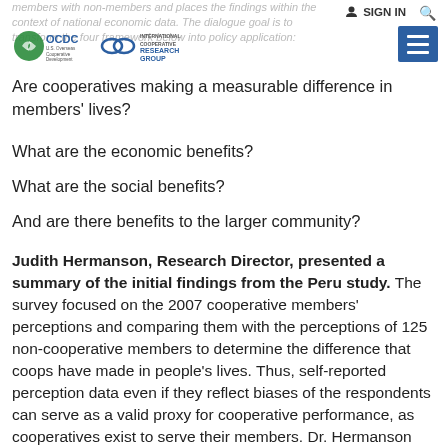members with non-members and places the findings within the context of national economic data. The dialogue goal is to transform the four framework below into policy application:
[Figure (logo): OCDC U.S. Overseas Cooperative Development Council logo and International Cooperative Research Group logo side by side]
Are cooperatives making a measurable difference in members' lives?
What are the economic benefits?
What are the social benefits?
And are there benefits to the larger community?
Judith Hermanson, Research Director, presented a summary of the initial findings from the Peru study. The survey focused on the 2007 cooperative members' perceptions and comparing them with the perceptions of 125 non-cooperative members to determine the difference that coops have made in people's lives. Thus, self-reported perception data even if they reflect biases of the respondents can serve as a valid proxy for cooperative performance, as cooperatives exist to serve their members. Dr. Hermanson highlighted 10 key findings from